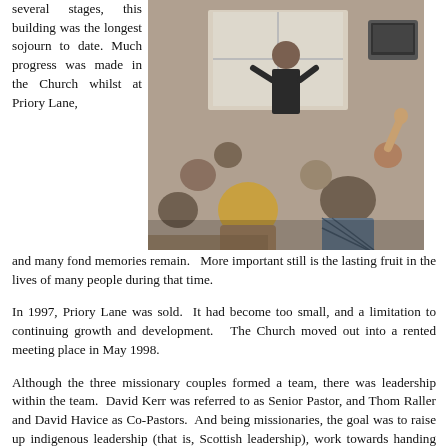several stages, this building was the longest sojourn to date. Much progress was made in the Church whilst at Priory Lane, and many fond memories remain. More important still is the lasting fruit in the lives of many people during that time.
[Figure (photo): Black and white photograph of a man standing and speaking to a seated group of people in what appears to be a living room or informal meeting setting, with a television visible in the background.]
In 1997, Priory Lane was sold. It had become too small, and a limitation to continuing growth and development. The Church moved out into a rented meeting place in May 1998.
Although the three missionary couples formed a team, there was leadership within the team. David Kerr was referred to as Senior Pastor, and Thom Raller and David Havice as Co-Pastors. And being missionaries, the goal was to raise up indigenous leadership (that is, Scottish leadership), work towards handing the Church over to that leadership.